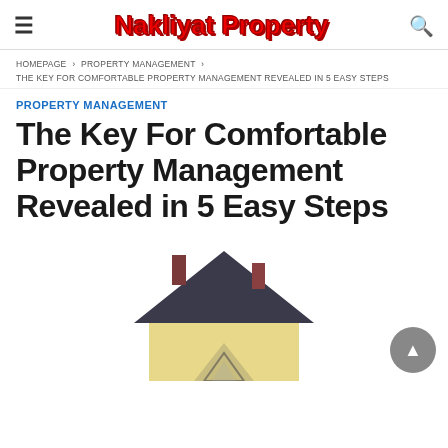Nakliyat Property
HOMEPAGE › PROPERTY MANAGEMENT › THE KEY FOR COMFORTABLE PROPERTY MANAGEMENT REVEALED IN 5 EASY STEPS
PROPERTY MANAGEMENT
The Key For Comfortable Property Management Revealed in 5 Easy Steps
[Figure (photo): 3D illustration of a house model with dark roof, yellow/cream walls, and two chimneys]